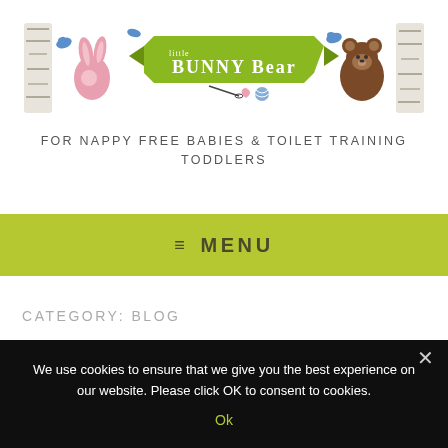[Figure (logo): Little Bunny Bear logo banner with illustrated rabbit, bear, birds, trees, and needle/thread on a green ribbon]
FOR NAPPY FREE BABIES & TOILET TRAINING TODDLERS
≡  MENU
CATEGORY: BLOG
We use cookies to ensure that we give you the best experience on our website. Please click OK to consent to cookies.
Ok